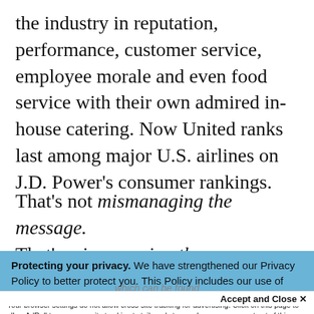the industry in reputation, performance, customer service, employee morale and even food service with their own admired in-house catering. Now United ranks last among major U.S. airlines on J.D. Power's consumer rankings.
That's not mismanaging the message. That's mismanaging the company.
Protecting your privacy. We have strengthened our Privacy Policy to better protect you. This Policy includes our use of cookies to give you the best online experience and provide functionality essential to our services. By clicking 'Close' or by continuing to use our website, you are consenting to our
Accept and Close ✕
Your browser settings do not allow cross-site tracking for advertising. Click on this page to allow AdRoll to use cross-site tracking to tailor ads to you. Learn more or opt out of this AdRoll tracking by clicking here. This message only appears once.